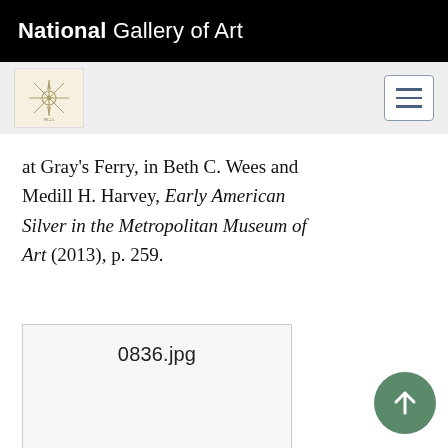National Gallery of Art
[Figure (logo): National Gallery of Art decorative compass-rose logo icon and hamburger menu button on grey navigation bar]
at Gray's Ferry, in Beth C. Wees and Medill H. Harvey, Early American Silver in the Metropolitan Museum of Art (2013), p. 259.
[Figure (photo): Image placeholder box showing filename 0836.jpg]